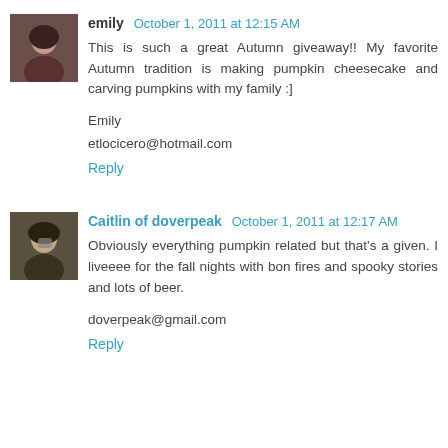[Figure (photo): Avatar photo of Emily, a woman with dark hair]
emily October 1, 2011 at 12:15 AM
This is such a great Autumn giveaway!! My favorite Autumn tradition is making pumpkin cheesecake and carving pumpkins with my family :]

Emily
etlocicero@hotmail.com
Reply
[Figure (photo): Avatar photo of Caitlin, a woman holding something]
Caitlin of doverpeak October 1, 2011 at 12:17 AM
Obviously everything pumpkin related but that's a given. I liveeee for the fall nights with bon fires and spooky stories and lots of beer.

doverpeak@gmail.com
Reply